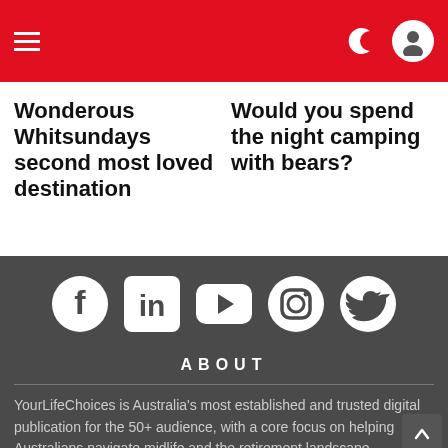Navigation header with hamburger menu and user icons
Wonderous Whitsundays second most loved destination
Would you spend the night camping with bears?
[Figure (infographic): Social media icons row: Facebook, LinkedIn, YouTube, Instagram, Twitter on dark grey background]
ABOUT
YourLifeChoices is Australia's most established and trusted digital publication for the 50+ audience, with a core focus on helping Australians navigate midlife and the retirement landscape.